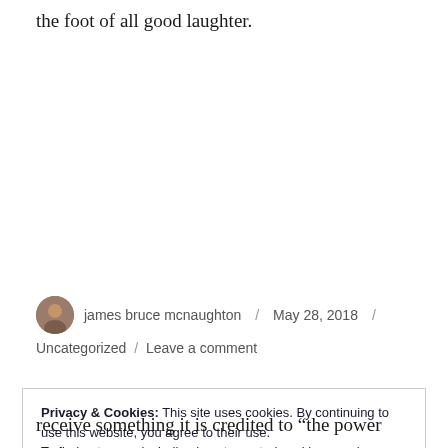the foot of all good laughter.
james bruce mcnaughton / May 28, 2018 / Uncategorized / Leave a comment
Privacy & Cookies: This site uses cookies. By continuing to use this website, you agree to their use.
To find out more, including how to control cookies, see here:
Cookie Policy
Close and accept
receive something it is credited to “the power